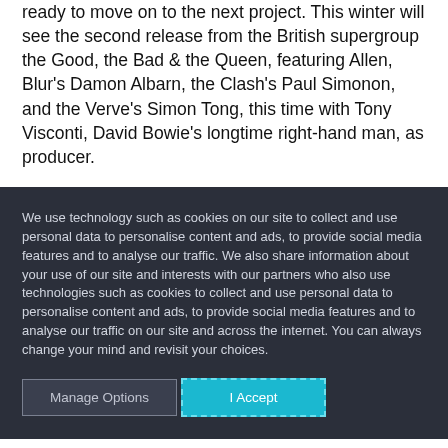ready to move on to the next project. This winter will see the second release from the British supergroup the Good, the Bad & the Queen, featuring Allen, Blur's Damon Albarn, the Clash's Paul Simonon, and the Verve's Simon Tong, this time with Tony Visconti, David Bowie's longtime right-hand man, as producer.
We use technology such as cookies on our site to collect and use personal data to personalise content and ads, to provide social media features and to analyse our traffic. We also share information about your use of our site and interests with our partners who also use technologies such as cookies to collect and use personal data to personalise content and ads, to provide social media features and to analyse our traffic on our site and across the internet. You can always change your mind and revisit your choices.
Manage Options
I Accept